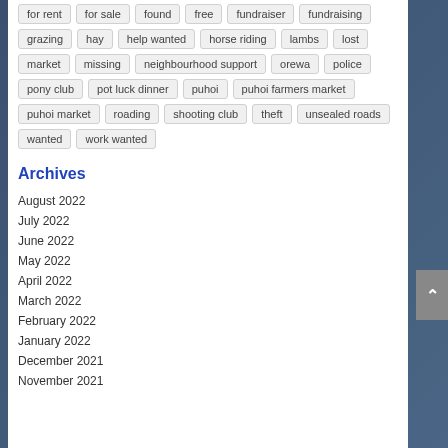for rent
for sale
found
free
fundraiser
fundraising
grazing
hay
help wanted
horse riding
lambs
lost
market
missing
neighbourhood support
orewa
police
pony club
pot luck dinner
puhoi
puhoi farmers market
puhoi market
roading
shooting club
theft
unsealed roads
wanted
work wanted
Archives
August 2022
July 2022
June 2022
May 2022
April 2022
March 2022
February 2022
January 2022
December 2021
November 2021